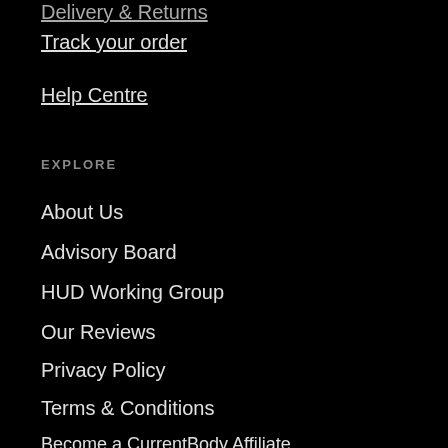Delivery & Returns
Track your order
Help Centre
EXPLORE
About Us
Advisory Board
HUD Working Group
Our Reviews
Privacy Policy
Terms & Conditions
Become a CurrentBody Affiliate
Latest Posts